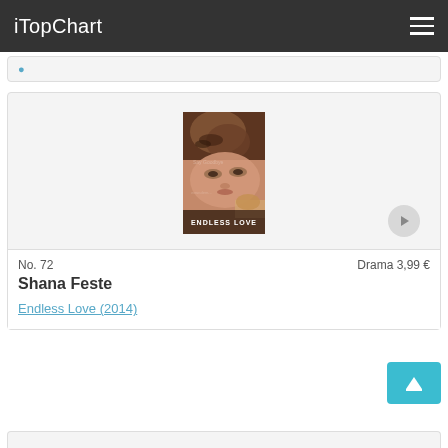iTopChart
[Figure (screenshot): Partial card at top with a blue link, mostly cut off]
[Figure (photo): Movie poster for 'Endless Love' showing two faces close together with text 'ENDLESS LOVE' at the bottom]
No. 72
Drama 3,99 €
Shana Feste
Endless Love (2014)